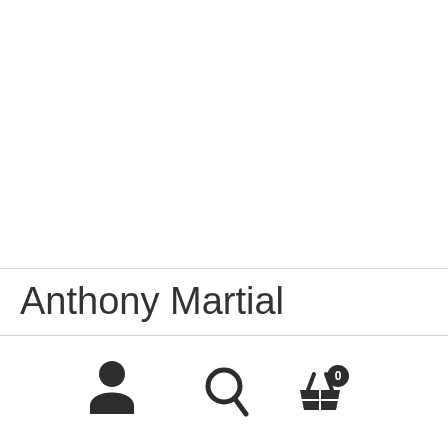Anthony Martial
[Figure (infographic): Bottom navigation bar with three icons: user/account icon on the left, search magnifying glass icon in the center, and shopping basket icon with badge showing 0 on the right]